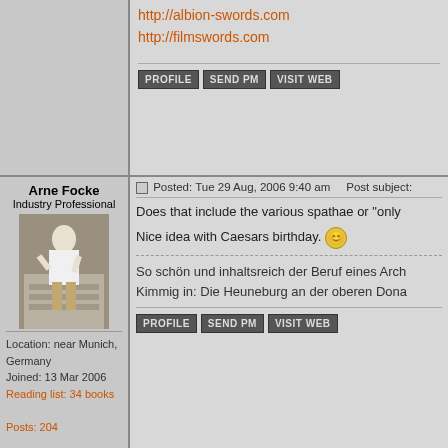http://albion-swords.com
http://filmswords.com
PROFILE  SEND PM  VISIT WEB
Arne Focke
Industry Professional
[Figure (photo): Profile photo of Arne Focke standing on steps outdoors]
Location: near Munich, Germany
Joined: 13 Mar 2006
Reading list: 34 books

Posts: 204

Feedback score: None
Posted: Tue 29 Aug, 2006 9:40 am    Post subject:
Does that include the various spathae or "only
Nice idea with Caesars birthday.
So schön und inhaltsreich der Beruf eines Arch
Kimmig in: Die Heuneburg an der oberen Dona
PROFILE  SEND PM  VISIT WEB
Howard Waddell
Industry Professional
Location: Wisconsin, USA
Joined: 18 Aug 2003

Posts: 717

Feedback score: None
Posted: Tue 29 Aug, 2006 9:50 am    Post subject:
Arne Focke wrote:
Does that include the various spathae or '
Nice idea with Caesars birthday.